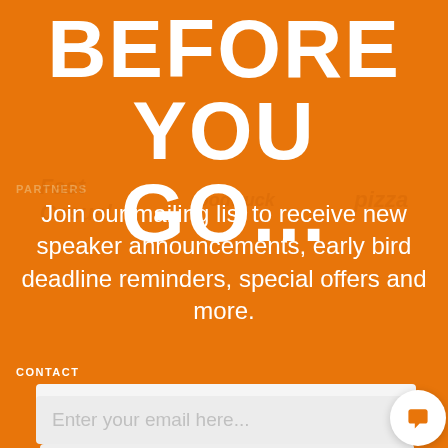BEFORE YOU GO...
Join our mailing list to receive new speaker announcements, early bird deadline reminders, special offers and more.
CONTACT
Enter your name here...
Enter your email here...